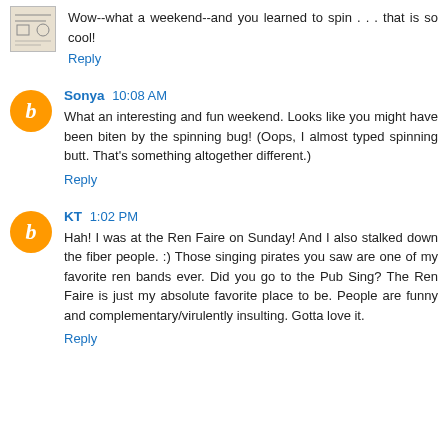[Figure (photo): Small avatar image, sketch/illustration style, in top left]
Wow--what a weekend--and you learned to spin . . . that is so cool!
Reply
[Figure (illustration): Orange circle Blogger avatar icon with italic B]
Sonya  10:08 AM
What an interesting and fun weekend. Looks like you might have been biten by the spinning bug! (Oops, I almost typed spinning butt. That's something altogether different.)
Reply
[Figure (illustration): Orange circle Blogger avatar icon with italic B]
KT  1:02 PM
Hah! I was at the Ren Faire on Sunday! And I also stalked down the fiber people. :) Those singing pirates you saw are one of my favorite ren bands ever. Did you go to the Pub Sing? The Ren Faire is just my absolute favorite place to be. People are funny and complementary/virulently insulting. Gotta love it.
Reply